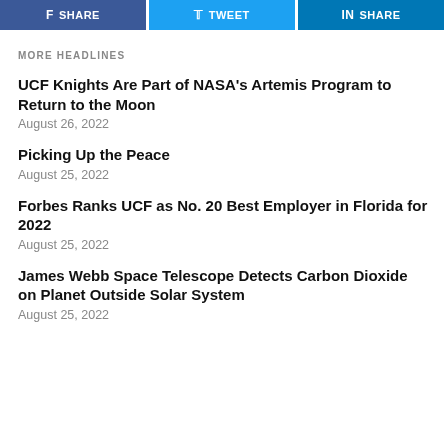[Figure (other): Social share buttons: f SHARE, TWEET, in SHARE]
MORE HEADLINES
UCF Knights Are Part of NASA's Artemis Program to Return to the Moon
August 26, 2022
Picking Up the Peace
August 25, 2022
Forbes Ranks UCF as No. 20 Best Employer in Florida for 2022
August 25, 2022
James Webb Space Telescope Detects Carbon Dioxide on Planet Outside Solar System
August 25, 2022